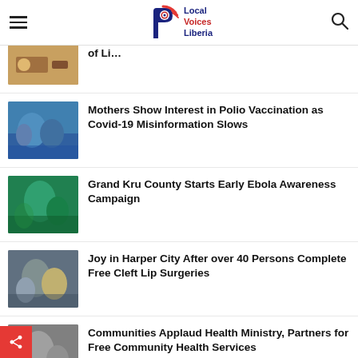Local Voices Liberia
Mothers Show Interest in Polio Vaccination as Covid-19 Misinformation Slows
Grand Kru County Starts Early Ebola Awareness Campaign
Joy in Harper City After over 40 Persons Complete Free Cleft Lip Surgeries
Communities Applaud Health Ministry, Partners for Free Community Health Services